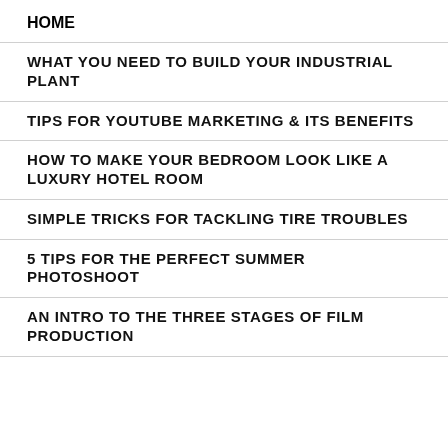HOME
WHAT YOU NEED TO BUILD YOUR INDUSTRIAL PLANT
TIPS FOR YOUTUBE MARKETING & ITS BENEFITS
HOW TO MAKE YOUR BEDROOM LOOK LIKE A LUXURY HOTEL ROOM
SIMPLE TRICKS FOR TACKLING TIRE TROUBLES
5 TIPS FOR THE PERFECT SUMMER PHOTOSHOOT
AN INTRO TO THE THREE STAGES OF FILM PRODUCTION